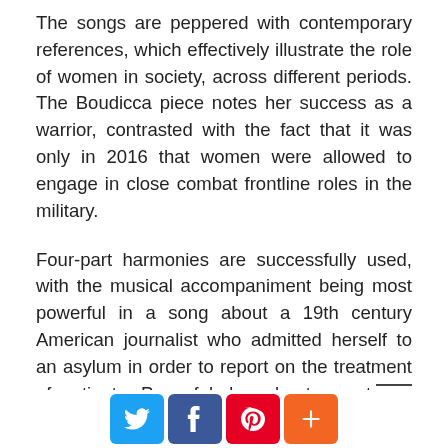The songs are peppered with contemporary references, which effectively illustrate the role of women in society, across different periods. The Boudicca piece notes her success as a warrior, contrasted with the fact that it was only in 2016 that women were allowed to engage in close combat frontline roles in the military.
Four-part harmonies are successfully used, with the musical accompaniment being most powerful in a song about a 19th century American journalist who admitted herself to an asylum in order to report on the treatment of patients. Powerful drum beats create an intense atmosphere, teamed with a